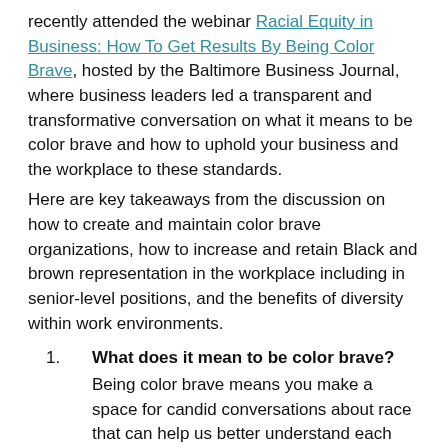recently attended the webinar Racial Equity in Business: How To Get Results By Being Color Brave, hosted by the Baltimore Business Journal, where business leaders led a transparent and transformative conversation on what it means to be color brave and how to uphold your business and the workplace to these standards.
Here are key takeaways from the discussion on how to create and maintain color brave organizations, how to increase and retain Black and brown representation in the workplace including in senior-level positions, and the benefits of diversity within work environments.
What does it mean to be color brave? Being color brave means you make a space for candid conversations about race that can help us better understand each other's perspectives and life experiences. Color brave doesn't mean you gloss over race issues and avoid these conversations, instead you welcome these conversations and approach them with unbiased opinions, an authentic mindset, curiosity, and